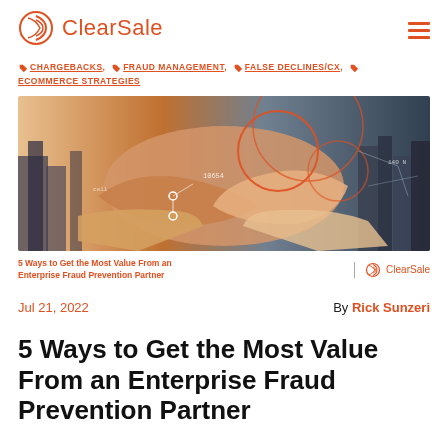ClearSale
CHARGEBACKS, FRAUD MANAGEMENT, FALSE DECLINES/CX, ECOMMERCE STRATEGIES
[Figure (photo): Two people shaking hands overlaid with digital network graphics, city skyline, and orange circular data visualization elements. Caption: '5 Ways to Get the Most Value From an Enterprise Fraud Prevention Partner' with ClearSale logo.]
Jul 21, 2022
By Rick Sunzeri
5 Ways to Get the Most Value From an Enterprise Fraud Prevention Partner